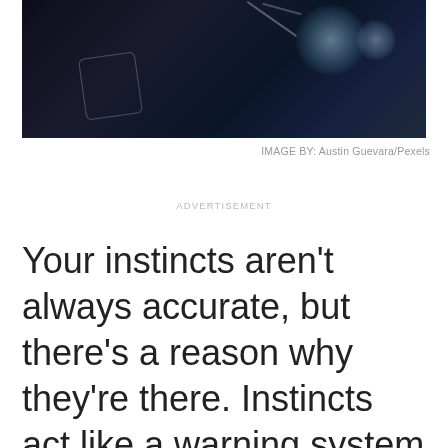[Figure (photo): Dark atmospheric photograph with shadowy background, appears to show a dark scene with faint outlines; very low light, bokeh light spots visible on right side]
IMAGE BY: Austin Guevara/Pexels
ADVERTISEMENT
Your instincts aren't always accurate, but there's a reason why they're there. Instincts act like a warning system to help you see things that aren't easy to see with the naked eye. So, if they're